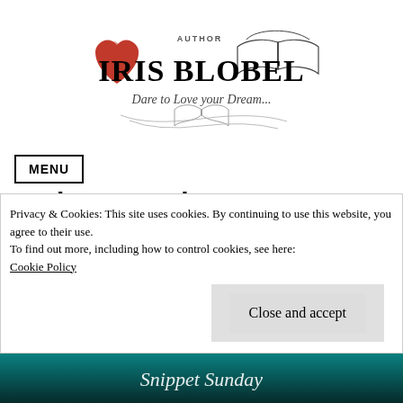[Figure (logo): Iris Blobel Author logo with two red hearts and an open book, tagline 'Dare to Love your Dream...']
MENU
#SnippetSunday “Let’s get you sorted.” #romance #Sundayblog #love
Privacy & Cookies: This site uses cookies. By continuing to use this website, you agree to their use.
To find out more, including how to control cookies, see here:
Cookie Policy
Close and accept
[Figure (screenshot): Snippet Sunday banner image in teal/dark tones]